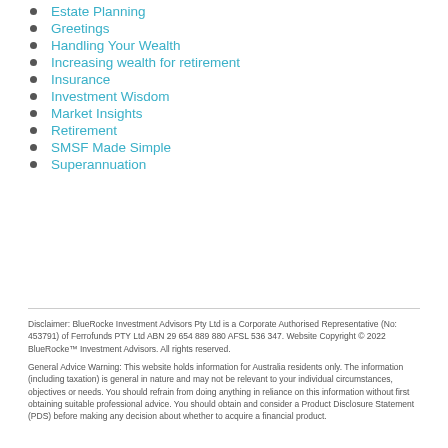Estate Planning
Greetings
Handling Your Wealth
Increasing wealth for retirement
Insurance
Investment Wisdom
Market Insights
Retirement
SMSF Made Simple
Superannuation
Disclaimer: BlueRocke Investment Advisors Pty Ltd is a Corporate Authorised Representative (No: 453791) of Ferrofunds PTY Ltd ABN 29 654 889 880 AFSL 536 347. Website Copyright © 2022 BlueRocke™ Investment Advisors. All rights reserved.
General Advice Warning: This website holds information for Australia residents only. The information (including taxation) is general in nature and may not be relevant to your individual circumstances, objectives or needs. You should refrain from doing anything in reliance on this information without first obtaining suitable professional advice. You should obtain and consider a Product Disclosure Statement (PDS) before making any decision about whether to acquire a financial product.